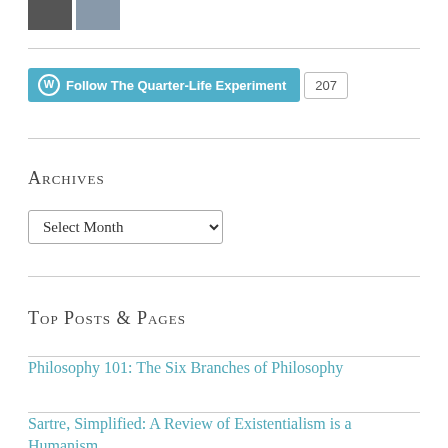[Figure (photo): Two small thumbnail images at top left]
Follow The Quarter-Life Experiment  207
Archives
Select Month
Top Posts & Pages
Philosophy 101: The Six Branches of Philosophy
Sartre, Simplified: A Review of Existentialism is a Humanism